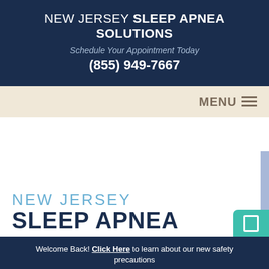NEW JERSEY SLEEP APNEA SOLUTIONS
Schedule Your Appointment Today
(855) 949-7667
MENU
NEW JERSEY
SLEEP APNEA
Welcome Back! Click Here to learn about our new safety precautions